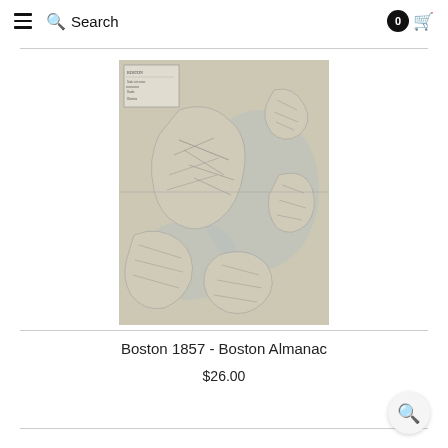Search
[Figure (map): Historical map of Boston 1857 from the Boston Almanac, showing streets, neighborhoods, harbor, and surrounding areas in sepia/grayscale engraving style]
Boston 1857 - Boston Almanac
$26.00